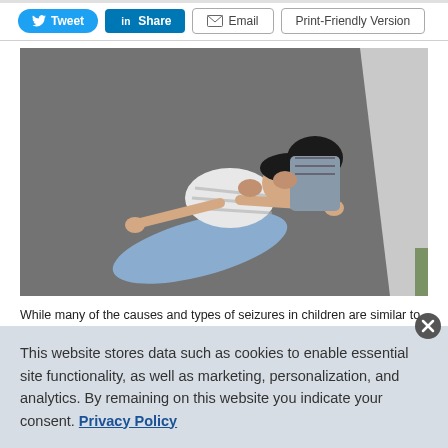[Figure (other): Social sharing buttons: Tweet (Twitter/blue pill), Share (LinkedIn/blue square), Email (grey outlined), Print-Friendly Version (grey outlined)]
[Figure (photo): Aerial view of a young Asian girl lying on asphalt pavement appearing to have a seizure, while an adult person kneels behind her holding her shoulders, providing assistance.]
While many of the causes and types of seizures in children are similar to
This website stores data such as cookies to enable essential site functionality, as well as marketing, personalization, and analytics. By remaining on this website you indicate your consent. Privacy Policy